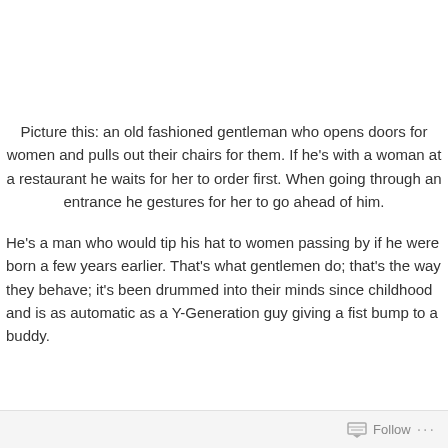Picture this: an old fashioned gentleman who opens doors for women and pulls out their chairs for them. If he's with a woman at a restaurant he waits for her to order first. When going through an entrance he gestures for her to go ahead of him.
He's a man who would tip his hat to women passing by if he were born a few years earlier. That's what gentlemen do; that's the way they behave; it's been drummed into their minds since childhood and is as automatic as a Y-Generation guy giving a fist bump to a buddy.
Follow ···